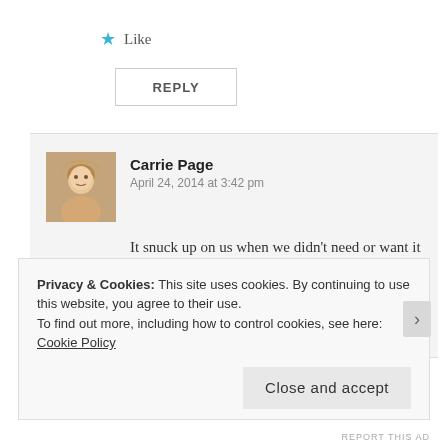★ Like
REPLY
Carrie Page
April 24, 2014 at 3:42 pm

It snuck up on us when we didn't need or want it (or so we thought). It finds you when you least expect it. 🙂
★ Liked by 1 person
Privacy & Cookies: This site uses cookies. By continuing to use this website, you agree to their use.
To find out more, including how to control cookies, see here: Cookie Policy
Close and accept